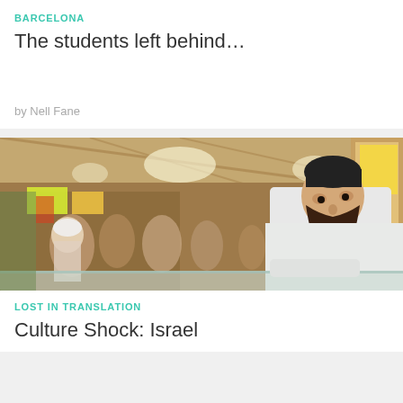BARCELONA
The students left behind…
by Nell Fane
[Figure (photo): A bearded Orthodox Jewish man in white clothing leaning over a glass counter in a busy covered market, with crowds and market stalls visible in the background]
LOST IN TRANSLATION
Culture Shock: Israel